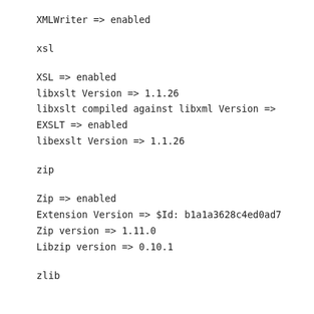XMLWriter => enabled
xsl
XSL => enabled
libxslt Version => 1.1.26
libxslt compiled against libxml Version =>
EXSLT => enabled
libexslt Version => 1.1.26
zip
Zip => enabled
Extension Version => $Id: b1a1a3628c4ed0ad7
Zip version => 1.11.0
Libzip version => 0.10.1
zlib